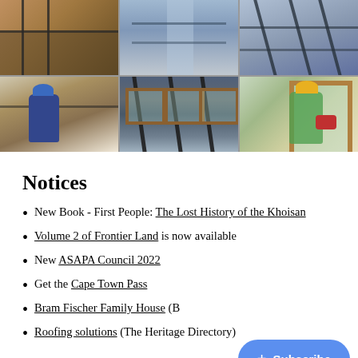[Figure (photo): Grid of 6 construction/renovation photos showing workers on scaffolding, scaffolding poles, and workers applying materials to walls of a heritage building.]
Notices
New Book - First People: The Lost History of the Khoisan
Volume 2 of Frontier Land is now available
New ASAPA Council 2022
Get the Cape Town Pass
Bram Fischer Family House (B...
Roofing solutions (The Heritage Directory)